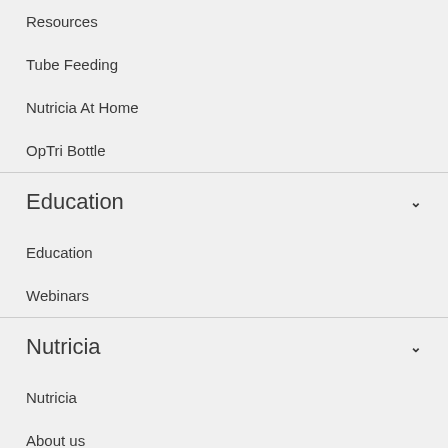Resources
Tube Feeding
Nutricia At Home
OpTri Bottle
Education
Education
Webinars
Nutricia
Nutricia
About us
Contact us